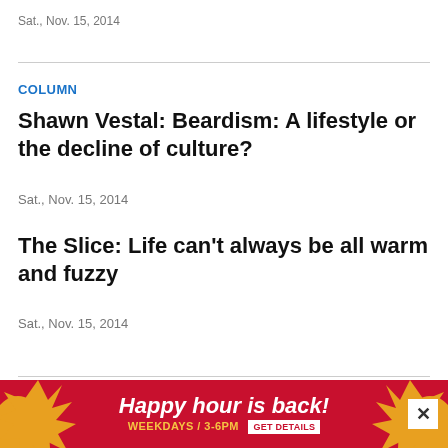Sat., Nov. 15, 2014
COLUMN
Shawn Vestal: Beardism: A lifestyle or the decline of culture?
Sat., Nov. 15, 2014
The Slice: Life can’t always be all warm and fuzzy
Sat., Nov. 15, 2014
EDITORIAL
Edito...ck
[Figure (infographic): Advertisement banner: Happy hour is back! Weekdays / 3-6PM GET DETAILS, red background with orange decorative star shapes on left and right, close button (X) on right.]